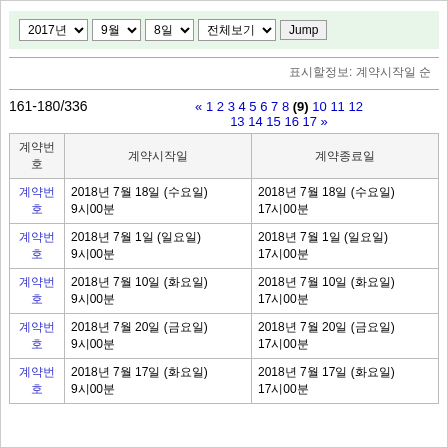[Figure (screenshot): Navigation bar with dropdowns: 2017년, 9월, 8일, 전체보기, and Jump button]
표시할정보: 계약시작일 순
161-180/336
« 1 2 3 4 5 6 7 8 (9) 10 11 12 13 14 15 16 17 »
| 계약번호 | 계약시작일 | 계약종료일 |
| --- | --- | --- |
| 계약번호
링크 | 2018년 7월 18일 (수요일)
9시00분 | 2018년 7월 18일 (수요일)
17시00분 |
| 계약번호
링크 | 2018년 7월 1일 (일요일)
9시00분 | 2018년 7월 1일 (일요일)
17시00분 |
| 계약번호
링크 | 2018년 7월 10일 (화요일)
9시00분 | 2018년 7월 10일 (화요일)
17시00분 |
| 계약번호
링크 | 2018년 7월 20일 (금요일)
9시00분 | 2018년 7월 20일 (금요일)
17시00분 |
| 계약번호
링크 | 2018년 7월 17일 (화요일)
9시00분 | 2018년 7월 17일 (화요일)
17시00분 |